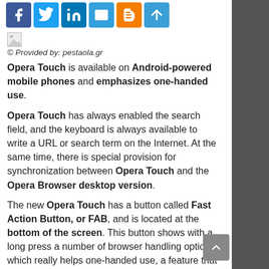[Figure (other): Social sharing icon bar with Facebook, Twitter, LinkedIn, Email, Blogger, and Share buttons]
[Figure (other): Broken/loading image placeholder icon]
© Provided by: pestaola.gr
Opera Touch is available on Android-powered mobile phones and emphasizes one-handed use.
Opera Touch has always enabled the search field, and the keyboard is always available to write a URL or search term on the Internet. At the same time, there is special provision for synchronization between Opera Touch and the Opera Browser desktop version.
The new Opera Touch has a button called Fast Action Button, or FAB, and is located at the bottom of the screen. This button shows with a long press a number of browser handling options, which really helps one-handed use, a feature that will be appreciated by all mobile users.